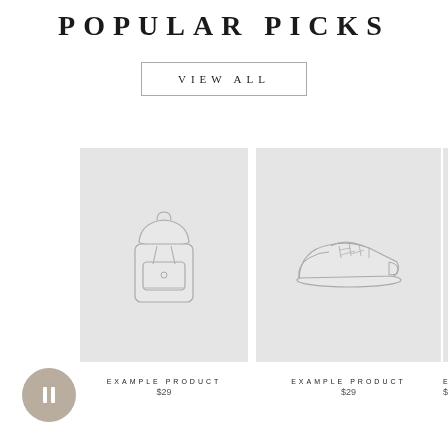POPULAR PICKS
VIEW ALL
[Figure (illustration): Line drawing of a backpack on light gray background]
[Figure (illustration): Line drawing of a sneaker/shoe on light gray background]
[Figure (illustration): Partial gray product card cut off on right edge]
EXAMPLE PRODUCT
$29
EXAMPLE PRODUCT
$29
EXA